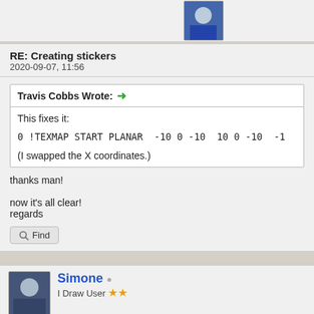[Figure (photo): Avatar image of a user in a blue jersey, partially visible at top]
RE: Creating stickers
2020-09-07, 11:56
Travis Cobbs Wrote: →
This fixes it:
0 !TEXMAP START PLANAR  -10 0 -10  10 0 -10  -1
(I swapped the X coordinates.)
thanks man!

now it's all clear!
regards
🔍 Find
[Figure (photo): Avatar image of Simone user]
Simone
I Draw User ⭐⭐